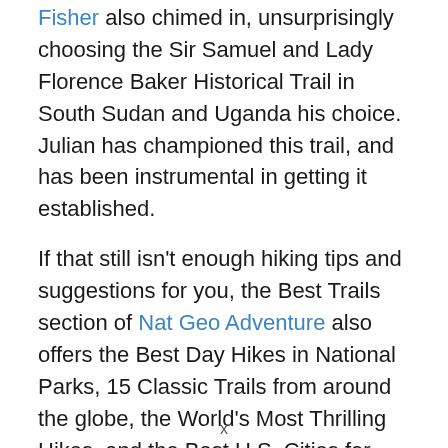Fisher also chimed in, unsurprisingly choosing the Sir Samuel and Lady Florence Baker Historical Trail in South Sudan and Uganda his choice. Julian has championed this trail, and has been instrumental in getting it established.
If that still isn't enough hiking tips and suggestions for you, the Best Trails section of Nat Geo Adventure also offers the Best Day Hikes in National Parks, 15 Classic Trails from around the globe, the World's Most Thrilling Hikes, and the Best U.S. Cities for Hiking as well. There is even a handy hiking and camping gear
x